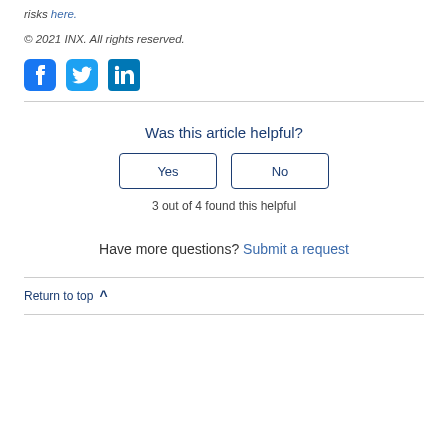risks here.
© 2021 INX. All rights reserved.
[Figure (illustration): Social media icons: Facebook, Twitter, LinkedIn]
Was this article helpful?
Yes | No buttons
3 out of 4 found this helpful
Have more questions? Submit a request
Return to top ∧